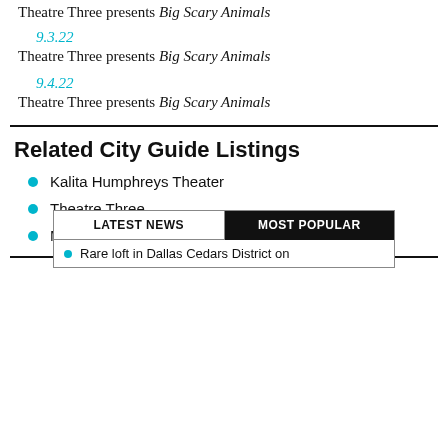Theatre Three presents Big Scary Animals
9.3.22
Theatre Three presents Big Scary Animals
9.4.22
Theatre Three presents Big Scary Animals
Related City Guide Listings
Kalita Humphreys Theater
Theatre Three
Margot and Bill Winspear Opera House
LATEST NEWS | MOST POPULAR
Rare loft in Dallas Cedars District on